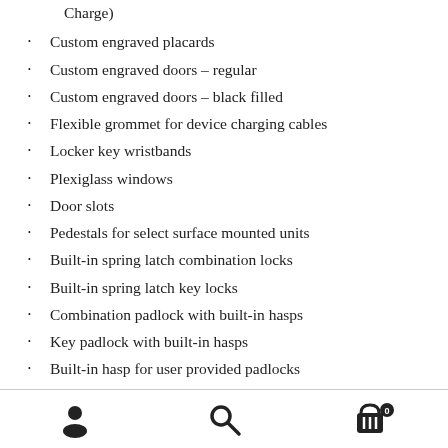Charge)
Custom engraved placards
Custom engraved doors – regular
Custom engraved doors – black filled
Flexible grommet for device charging cables
Locker key wristbands
Plexiglass windows
Door slots
Pedestals for select surface mounted units
Built-in spring latch combination locks
Built-in spring latch key locks
Combination padlock with built-in hasps
Key padlock with built-in hasps
Built-in hasp for user provided padlocks
Navigation bar with user, search, and cart icons